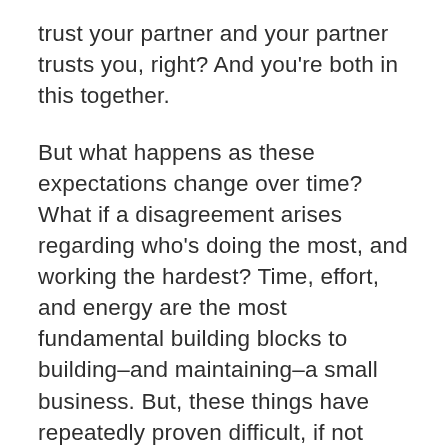trust your partner and your partner trusts you, right?  And you're both in this together.
But what happens as these expectations change over time?  What if a disagreement arises regarding who's doing the most, and working the hardest?  Time, effort, and energy are the most fundamental building blocks to building–and maintaining–a small business.  But, these things have repeatedly proven difficult, if not impossible, to measure, stack up, weigh, and compare.  And believe it or not, individuals often have wildly different expectations as to what should become of a business, once it gets off the ground and starts becoming a success.